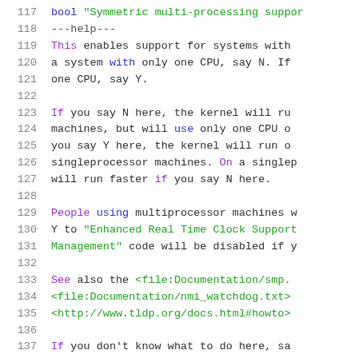Source code listing lines 117-137 showing kernel configuration file content with syntax highlighting
117: bool "Symmetric multi-processing support
118:     ---help---
119:         This enables support for systems with
120:         a system with only one CPU, say N. If
121:         one CPU, say Y.
122:
123:         If you say N here, the kernel will ru
124:         machines, but will use only one CPU o
125:         you say Y here, the kernel will run o
126:         singleprocessor machines. On a singlep
127:         will run faster if you say N here.
128:
129:         People using multiprocessor machines w
130:         Y to "Enhanced Real Time Clock Support
131:         Management" code will be disabled if y
132:
133:         See also the <file:Documentation/smp.
134:         <file:Documentation/nmi_watchdog.txt>
135:         <http://www.tldp.org/docs.html#howto>
136:
137:         If you don't know what to do here, sa